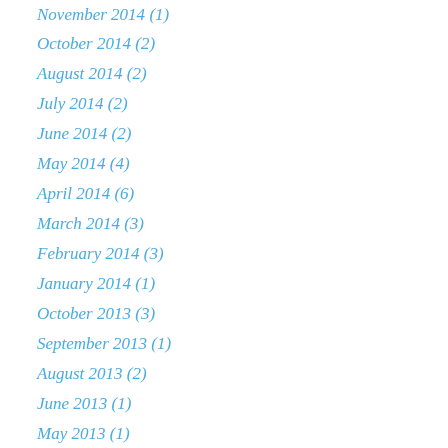November 2014 (1)
October 2014 (2)
August 2014 (2)
July 2014 (2)
June 2014 (2)
May 2014 (4)
April 2014 (6)
March 2014 (3)
February 2014 (3)
January 2014 (1)
October 2013 (3)
September 2013 (1)
August 2013 (2)
June 2013 (1)
May 2013 (1)
April 2013 (1)
March 2013 (2)
February 2013 (2)
January 2013 (3)
December 2012 (1)